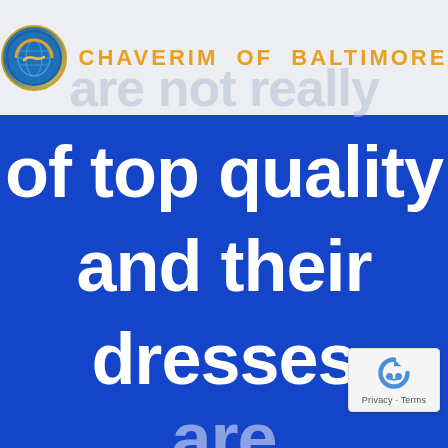[Figure (logo): Chaverim of Baltimore logo: circular badge with globe and handshake imagery]
CHAVERIM OF BALTIMORE
are not really
of top quality and their dresses
[Figure (other): Google reCAPTCHA badge with Privacy and Terms links]